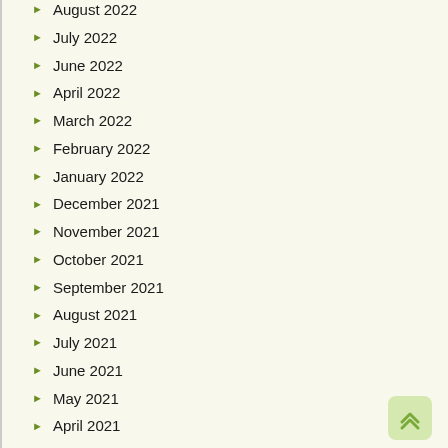August 2022
July 2022
June 2022
April 2022
March 2022
February 2022
January 2022
December 2021
November 2021
October 2021
September 2021
August 2021
July 2021
June 2021
May 2021
April 2021
March 2021
February 2021
January 2021